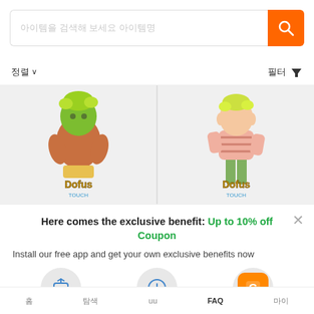[Figure (screenshot): Mobile app search bar with orange search button]
정렬 ∨
필터 ▼
[Figure (illustration): Two Dofus Touch game character cards side by side on grey background]
Here comes the exclusive benefit: Up to 10% off Coupon
Install our free app and get your own exclusive benefits now
1.click
2.Add to home screen
Get coupon
홈  탐색  uu  FAQ  마이